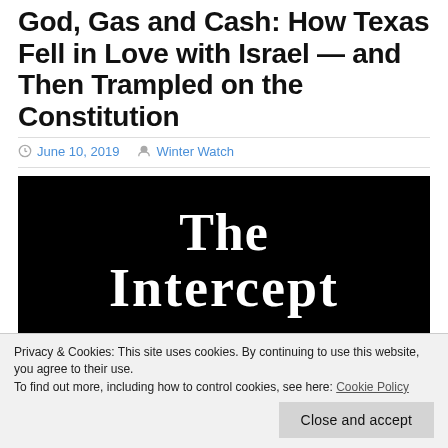God, Gas and Cash: How Texas Fell in Love with Israel — and Then Trampled on the Constitution
June 10, 2019   Winter Watch
[Figure (logo): The Intercept logo — white text on black background showing 'The Intercept' in large serif font]
Privacy & Cookies: This site uses cookies. By continuing to use this website, you agree to their use.
To find out more, including how to control cookies, see here: Cookie Policy
Close and accept